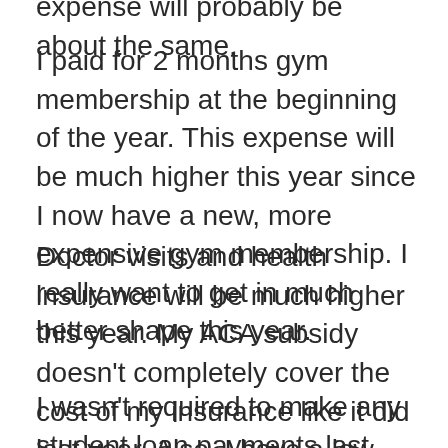expense will probably be about the same.
I paid for 2 months gym membership at the beginning of the year. This expense will be much higher this year since I now have a new, more expensive gym membership. I really want to get in much better shape this year.
Doctor visits and health insurance will be much higher this year. My ACA subsidy doesn't completely cover the cost of my insurance like it did last year. Also, I have a low deductible this year so I'm going to try to get several health issues addressed.
I wasn't required to make any student loan payments last year. The amount I did pay